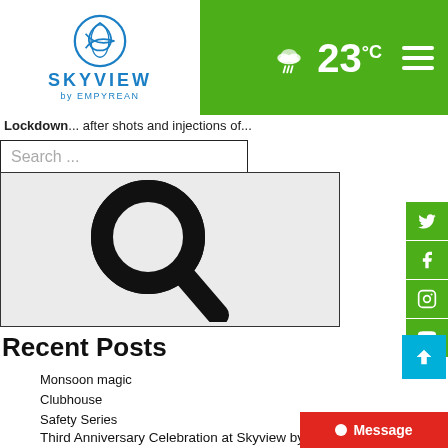SKYVIEW by EMPYREAN — 23°C weather header
Lockdown... after shots and injections of...
Search ...
[Figure (illustration): Large magnifying glass / search icon on light grey background]
Recent Posts
Monsoon magic
Clubhouse
Safety Series
Third Anniversary Celebration at Skyview by Empyrean
Message from the Managing Director for th... August